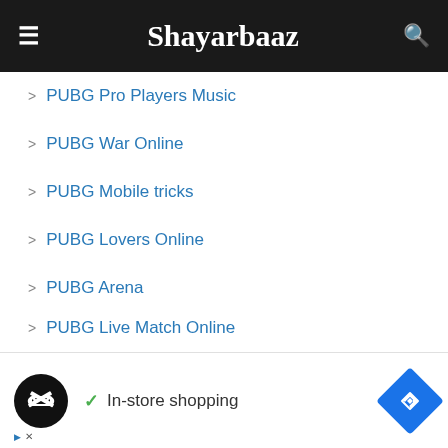Shayarbaaz
PUBG Pro Players Music
PUBG War Online
PUBG Mobile tricks
PUBG Lovers Online
PUBG Arena
PUBG Live Match Online
PUBG
PUBG Tips & Tricks
PUBG Game Tips
Money Online PUBG
[Figure (screenshot): Advertisement banner with logo, checkmark, 'In-store shopping' text, and navigation icon]